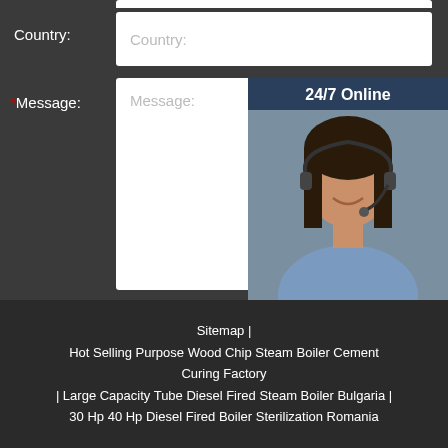Country:
Country: (input field placeholder)
*Message:
Message: (textarea placeholder)
24/7 Online
[Figure (photo): Customer service representative wearing a headset, smiling]
Click here for free chat !
QUOTATION
Submit Now
Sitemap | Hot Selling Purpose Wood Chip Steam Boiler Cement Curing Factory | Large Capacity Tube Diesel Fired Steam Boiler Bulgaria | 30 Hp 40 Hp Diesel Fired Boiler Sterilization Romania